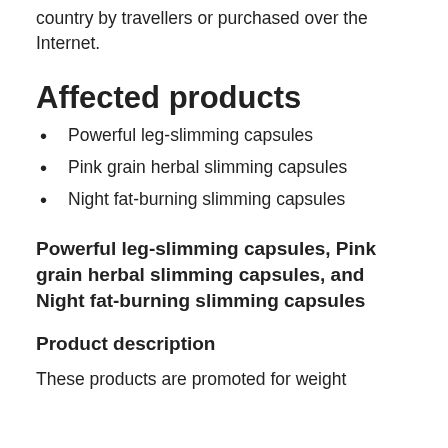country by travellers or purchased over the Internet.
Affected products
Powerful leg-slimming capsules
Pink grain herbal slimming capsules
Night fat-burning slimming capsules
Powerful leg-slimming capsules, Pink grain herbal slimming capsules, and Night fat-burning slimming capsules
Product description
These products are promoted for weight